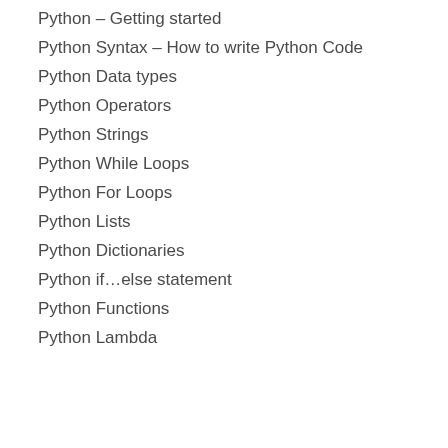Python – Getting started
Python Syntax – How to write Python Code
Python Data types
Python Operators
Python Strings
Python While Loops
Python For Loops
Python Lists
Python Dictionaries
Python if…else statement
Python Functions
Python Lambda